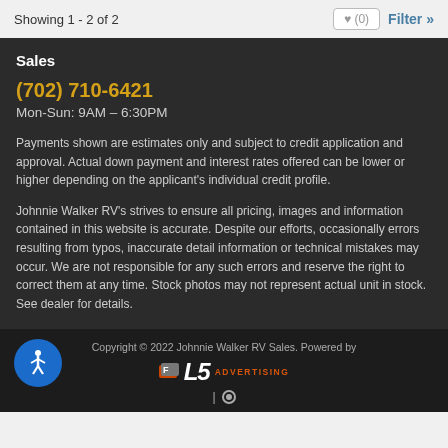Showing 1 - 2 of 2
Sales
(702) 710-6421
Mon-Sun: 9AM – 6:30PM
Payments shown are estimates only and subject to credit application and approval. Actual down payment and interest rates offered can be lower or higher depending on the applicant's individual credit profile.
Johnnie Walker RV's strives to ensure all pricing, images and information contained in this website is accurate. Despite our efforts, occasionally errors resulting from typos, inaccurate detail information or technical mistakes may occur. We are not responsible for any such errors and reserve the right to correct them at any time. Stock photos may not represent actual unit in stock. See dealer for details.
Copyright © 2022 Johnnie Walker RV Sales. Powered by LS Advertising